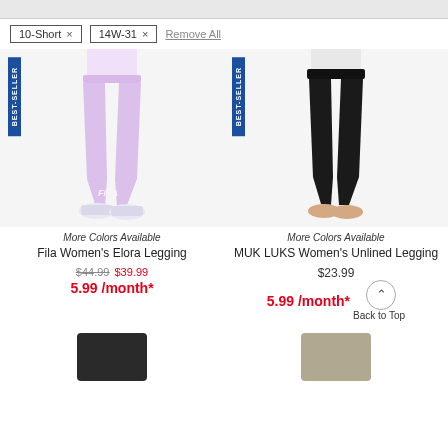10-Short × | 14W-31 × | Remove All
[Figure (photo): Fila Women's Elora Legging in light purple/lavender, model shown from waist down wearing white sneakers, BEST-SELLER badge]
[Figure (photo): MUK LUKS Women's Unlined Legging in black, model shown from waist down barefoot, BEST-SELLER badge]
More Colors Available
Fila Women's Elora Legging
$44.99 $39.99
5.99 /month*
More Colors Available
MUK LUKS Women's Unlined Legging
$23.99
5.99 /month*
Back to Top
[Figure (photo): Bottom partial thumbnail of black short legging]
[Figure (photo): Bottom partial thumbnail of gray/taupe legging]